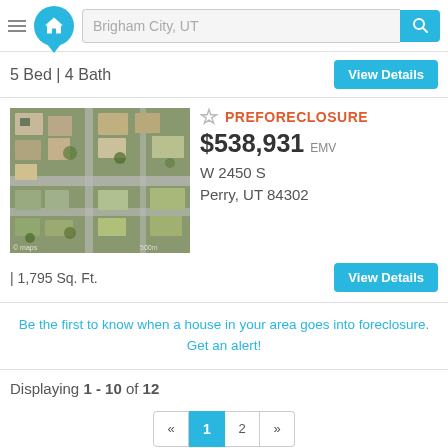[Figure (screenshot): Header with hamburger menu, house logo, search bar showing 'Brigham City, UT', and blue search button]
5 Bed | 4 Bath
View Details
[Figure (photo): Aerial satellite photo of a residential neighborhood with houses and streets]
PREFORECLOSURE
$538,931 EMV
W 2450 S
Perry, UT 84302
| 1,795 Sq. Ft.
View Details
Be the first to know when a house in your area goes into foreclosure. Get an alert!
Displaying 1 - 10 of 12
« 1 2 »